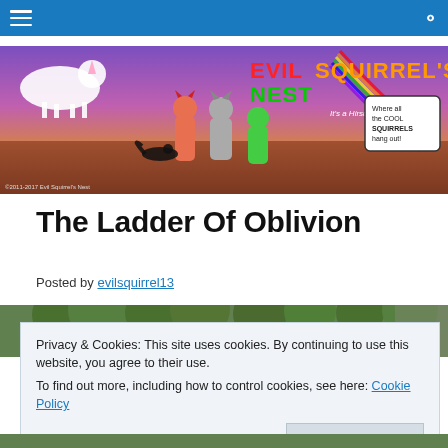[Navigation bar with hamburger menu and search icon]
[Figure (illustration): Evil Squirrel's Nest website banner with colorful cartoon characters including unicorns, squirrels, and anthropomorphic animals on a purple and orange background. Text reads 'EVIL SQUIRREL'S NEST' and 'It's a Hirsute Nest of Absurdity!' and 'Where all the COOL SQUIRRELS hang out!' Copyright 2011-2017 Evil Squirrel's Nest.]
The Ladder Of Oblivion
Posted by evilsquirrel13
[Figure (photo): Partial photo visible behind cookie notice, appears to show trees and greenery.]
Privacy & Cookies: This site uses cookies. By continuing to use this website, you agree to their use.
To find out more, including how to control cookies, see here: Cookie Policy
Close and accept